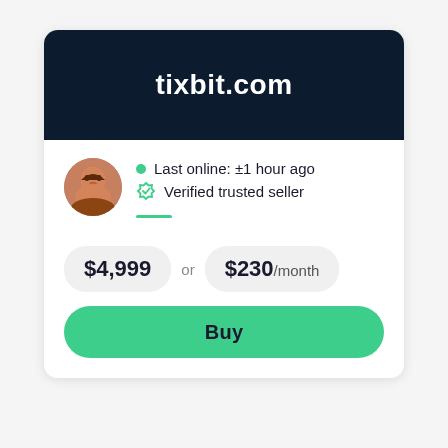tixbit.com
Last online: ±1 hour ago
Verified trusted seller
$4,999 or $230 /month
Buy